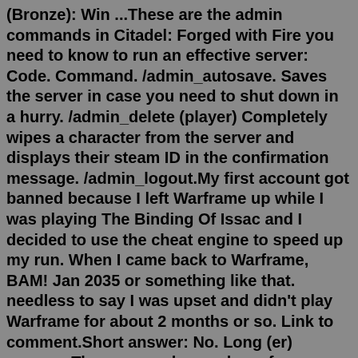(Bronze): Win ...These are the admin commands in Citadel: Forged with Fire you need to know to run an effective server: Code. Command. /admin_autosave. Saves the server in case you need to shut down in a hurry. /admin_delete (player) Completely wipes a character from the server and displays their steam ID in the confirmation message. /admin_logout.My first account got banned because I left Warframe up while I was playing The Binding Of Issac and I decided to use the cheat engine to speed up my run. When I came back to Warframe, BAM! Jan 2035 or something like that. needless to say I was upset and didn't play Warframe for about 2 months or so. Link to comment.Short answer: No. Long (er) answer: There are no known bans for even extreme cheating, including things like 1-shotting monsters in multiplayer hunts and 0.2 seconds arena challenge clear times. The devs are obviously not fans of modding, and it is not "officially allowed", but they probably have better things to do than going after